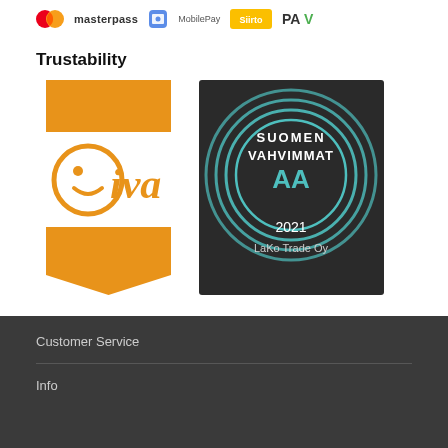[Figure (logo): Payment method logos: Masterpass, MobilePay, Siirto, PAY]
Trustability
[Figure (logo): Oiva orange logo with smiley face icon and banner ribbons]
[Figure (logo): Suomen Vahvimmat AA 2021 LaKo Trade Oy dark circular badge]
Customer Service
Info